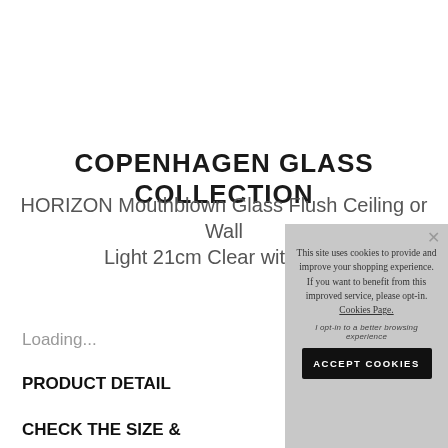COPENHAGEN GLASS COLLECTION
HORIZON Mouthblown Glass Flush Ceiling or Wall Light 21cm Clear with Gold
Loading...
PRODUCT DETAIL
CHECK THE SIZE &
This site uses cookies to provide and improve your shopping experience. If you want to benefit from this improved service, please opt-in. Cookies Page.
I opt-in to a better browsing experience
ACCEPT COOKIES